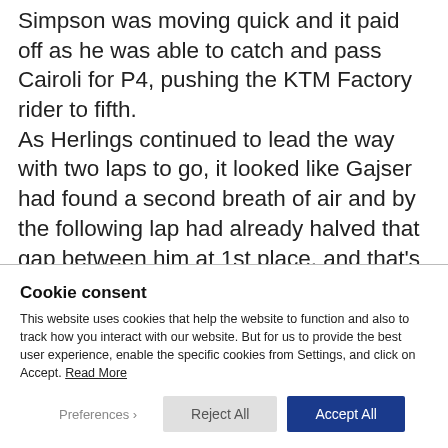Simpson was moving quick and it paid off as he was able to catch and pass Cairoli for P4, pushing the KTM Factory rider to fifth. As Herlings continued to lead the way with two laps to go, it looked like Gajser had found a second breath of air and by the following lap had already halved that gap between him at 1st place, and that's when the race for the win was really on.
Cookie consent
This website uses cookies that help the website to function and also to track how you interact with our website. But for us to provide the best user experience, enable the specific cookies from Settings, and click on Accept. Read More
[Preferences] [Reject All] [Accept All]